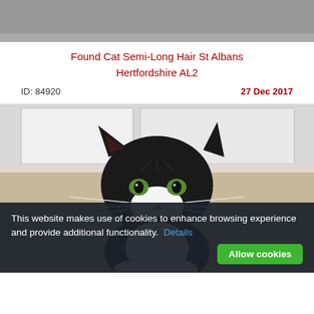[Figure (photo): Top partial image, cropped grey/neutral background area]
Found Cat Semi-Long Hair St Albans Hertfordshire AL2
ID: 84920	27 Dec 2017
[Figure (photo): Photo of a black and white semi-long hair cat with green eyes sitting against a white wall background]
This website makes use of cookies to enhance browsing experience and provide additional functionality. Details Allow cookies